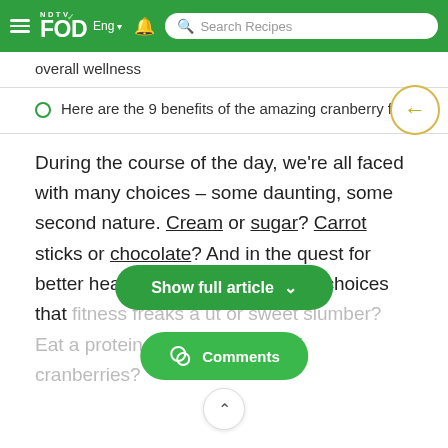NDTV Food | Eng | Search Recipes
overall wellness
Here are the 9 benefits of the amazing cranberry fruit
During the course of the day, we're all faced with many choices – some daunting, some second nature. Cream or sugar? Carrot sticks or chocolate? And in the quest for better health, there are also many choices that fitness freaks a... ut or sweet slumber? Eat a protein bar or a handful of cranberries?
[Figure (screenshot): Show full article button (green pill-shaped button with chevron)]
[Figure (screenshot): Comments button (green pill-shaped button with chat icon)]
[Figure (screenshot): Scroll up button (white circle with upward chevron)]